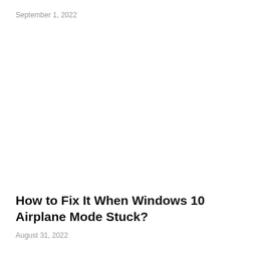September 1, 2022
How to Fix It When Windows 10 Airplane Mode Stuck?
August 31, 2022